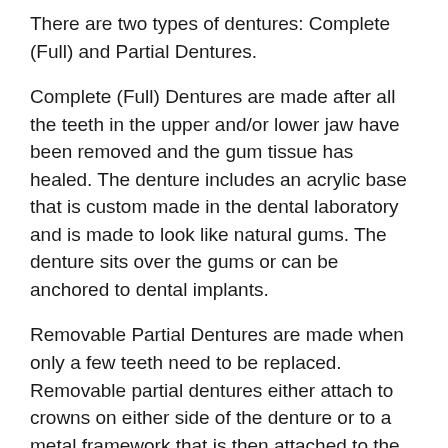There are two types of dentures: Complete (Full) and Partial Dentures.
Complete (Full) Dentures are made after all the teeth in the upper and/or lower jaw have been removed and the gum tissue has healed. The denture includes an acrylic base that is custom made in the dental laboratory and is made to look like natural gums. The denture sits over the gums or can be anchored to dental implants.
Removable Partial Dentures are made when only a few teeth need to be replaced. Removable partial dentures either attach to crowns on either side of the denture or to a metal framework that is then attached to the teeth on both sides of the partial denture. When worn during the day, removable partial implants can also be supported in place by dental implants. As opposed to being removable, partial dentures